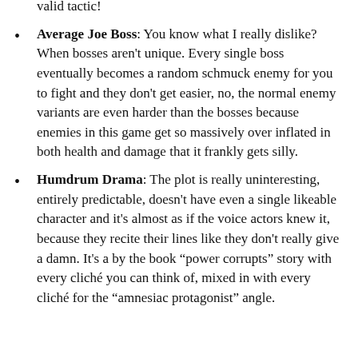valid tactic!
Average Joe Boss: You know what I really dislike? When bosses aren't unique. Every single boss eventually becomes a random schmuck enemy for you to fight and they don't get easier, no, the normal enemy variants are even harder than the bosses because enemies in this game get so massively over inflated in both health and damage that it frankly gets silly.
Humdrum Drama: The plot is really uninteresting, entirely predictable, doesn't have even a single likeable character and it's almost as if the voice actors knew it, because they recite their lines like they don't really give a damn. It's a by the book “power corrupts” story with every cliché you can think of, mixed in with every cliché for the “amnesiac protagonist” angle.